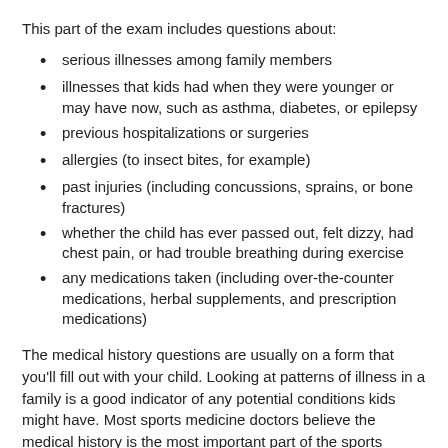This part of the exam includes questions about:
serious illnesses among family members
illnesses that kids had when they were younger or may have now, such as asthma, diabetes, or epilepsy
previous hospitalizations or surgeries
allergies (to insect bites, for example)
past injuries (including concussions, sprains, or bone fractures)
whether the child has ever passed out, felt dizzy, had chest pain, or had trouble breathing during exercise
any medications taken (including over-the-counter medications, herbal supplements, and prescription medications)
The medical history questions are usually on a form that you'll fill out with your child. Looking at patterns of illness in a family is a good indicator of any potential conditions kids might have. Most sports medicine doctors believe the medical history is the most important part of the sports physical exam, so take time to answer the questions carefully. It's unlikely that any health conditions your child has will prevent him or her from playing sports completely.